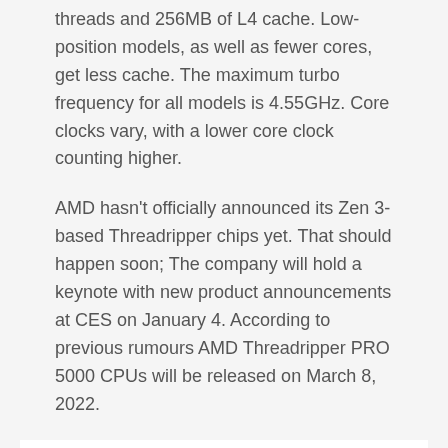threads and 256MB of L4 cache. Low-position models, as well as fewer cores, get less cache. The maximum turbo frequency for all models is 4.55GHz. Core clocks vary, with a lower core clock counting higher.
AMD hasn't officially announced its Zen 3-based Threadripper chips yet. That should happen soon; The company will hold a keynote with new product announcements at CES on January 4. According to previous rumours AMD Threadripper PRO 5000 CPUs will be released on March 8, 2022.
See also  Computers with modern Intel CPUs cannot play UHD Blu-ray via PowerDVD - Computer - News
AMD Threadripper PRO 5000 detail...